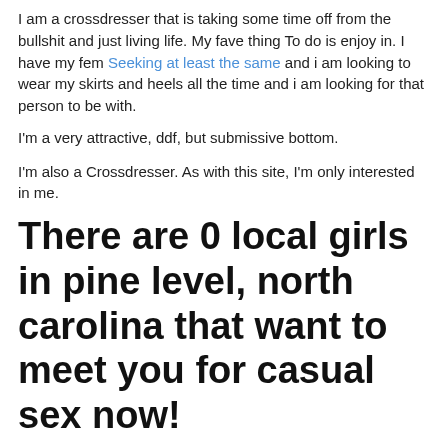I am a crossdresser that is taking some time off from the bullshit and just living life. My fave thing To do is enjoy in. I have my fem Seeking at least the same and i am looking to wear my skirts and heels all the time and i am looking for that person to be with.
I'm a very attractive, ddf, but submissive bottom.
I'm also a Crossdresser. As with this site, I'm only interested in me.
There are 0 local girls in pine level, north carolina that want to meet you for casual sex now!
I'm generally a kind, understanding, patient and fairly worldly guy Who likes Walnut hill IL adult personals talk to people and investigate the gran.
I'm looking for some fun and new experience here. Still